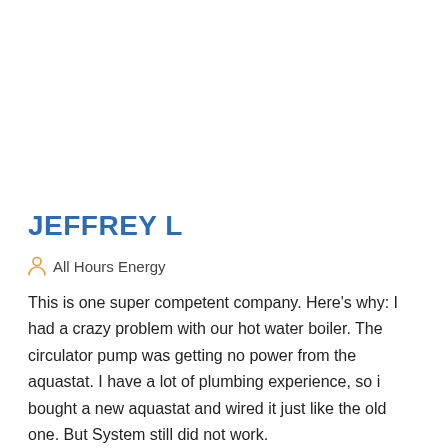JEFFREY L
All Hours Energy
This is one super competent company. Here’s why: I had a crazy problem with our hot water boiler. The circulator pump was getting no power from the aquastat. I have a lot of plumbing experience, so i bought a new aquastat and wired it just like the old one. But System still did not work.